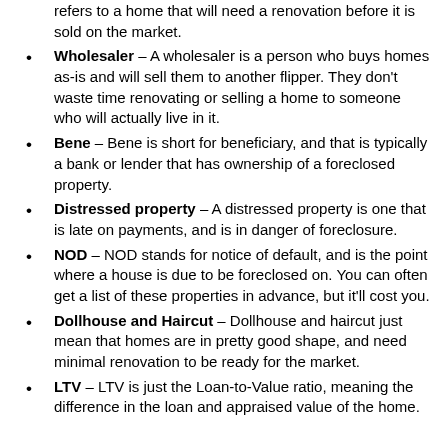(continued) refers to a home that will need a renovation before it is sold on the market.
Wholesaler – A wholesaler is a person who buys homes as-is and will sell them to another flipper. They don't waste time renovating or selling a home to someone who will actually live in it.
Bene – Bene is short for beneficiary, and that is typically a bank or lender that has ownership of a foreclosed property.
Distressed property – A distressed property is one that is late on payments, and is in danger of foreclosure.
NOD – NOD stands for notice of default, and is the point where a house is due to be foreclosed on. You can often get a list of these properties in advance, but it'll cost you.
Dollhouse and Haircut – Dollhouse and haircut just mean that homes are in pretty good shape, and need minimal renovation to be ready for the market.
LTV – LTV is just the Loan-to-Value ratio, meaning the difference in the loan and appraised value of the home.